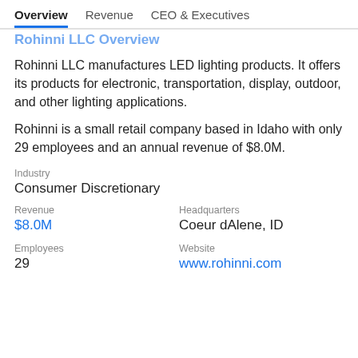Overview  Revenue  CEO & Executives
Rohinni LLC Overview
Rohinni LLC manufactures LED lighting products. It offers its products for electronic, transportation, display, outdoor, and other lighting applications.
Rohinni is a small retail company based in Idaho with only 29 employees and an annual revenue of $8.0M.
Industry
Consumer Discretionary
Revenue
$8.0M
Headquarters
Coeur dAlene, ID
Employees
29
Website
www.rohinni.com